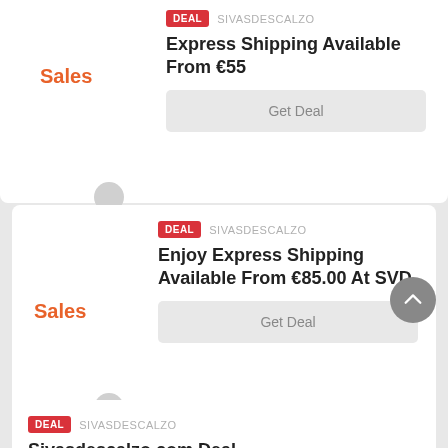DEAL  SIVASDESCALZO
Express Shipping Available From €55
Sales
Get Deal
DEAL  SIVASDESCALZO
Enjoy Express Shipping Available From €85.00 At SVD
Sales
Get Deal
DEAL  SIVASDESCALZO
Sivasdescalzo.com Deal